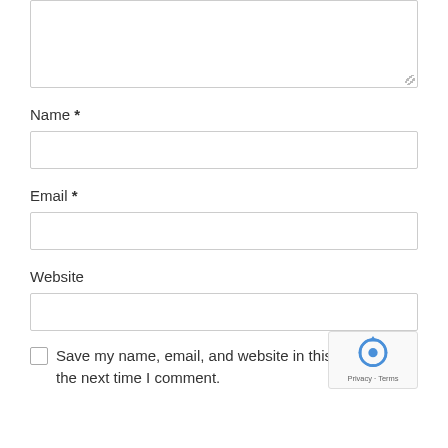[Figure (screenshot): Textarea input box (partially visible at top, with resize handle at bottom-right)]
Name *
[Figure (screenshot): Name input field (empty text box)]
Email *
[Figure (screenshot): Email input field (empty text box)]
Website
[Figure (screenshot): Website input field (empty text box)]
Save my name, email, and website in this browser for the next time I comment.
[Figure (logo): reCAPTCHA badge with robot icon and Privacy · Terms text]